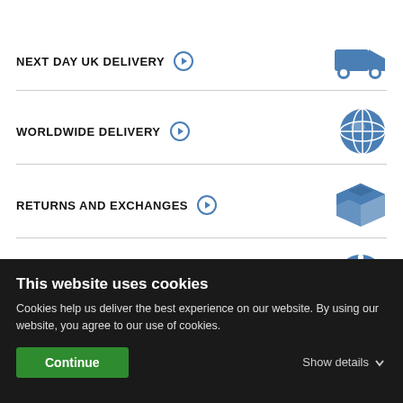NEXT DAY UK DELIVERY →
WORLDWIDE DELIVERY →
RETURNS AND EXCHANGES →
TECHNICAL TAIL LIFT SUPPORT →
This website uses cookies
Cookies help us deliver the best experience on our website. By using our website, you agree to our use of cookies.
Continue
Show details